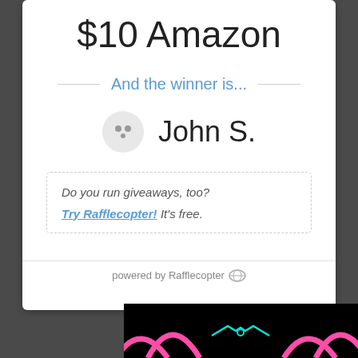$10 Amazon
And the winner is...
John S.
Do you run giveaways, too? Try Rafflecopter! It's free.
powered by Rafflecopter
[Figure (photo): Dark banner image with colorful neon graphic elements on black background]